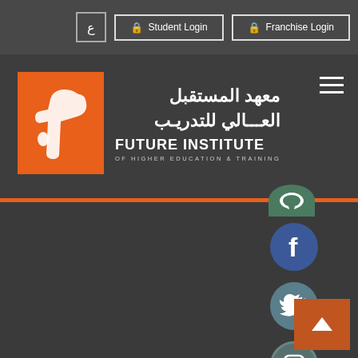[Figure (screenshot): Language toggle button with Arabic letter Ain in a bordered box]
[Figure (screenshot): Student Login button with lock icon and white border]
[Figure (screenshot): Franchise Login button with lock icon and white border]
[Figure (logo): Future Institute of Higher Education and Training logo - orange square with stylized 'fi' mark, Arabic text 'معهد المستقبل العالي للتدريب' and English 'FUTURE INSTITUTE OF HIGHER EDUCATION & TRAINING']
[Figure (screenshot): Hamburger menu icon (three horizontal white lines)]
[Figure (screenshot): Social media icons column: partial green icon at top, Facebook circle, Twitter circle, Instagram circle, and back-to-top orange button]